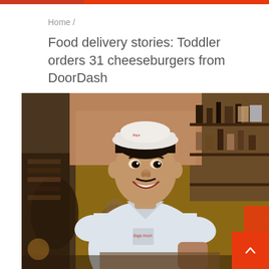Home /
Food delivery stories: Toddler orders 31 cheeseburgers from DoorDash
[Figure (photo): A smiling young man wearing a white chef uniform and white cap, standing in what appears to be a restaurant kitchen or cafe interior with shelves and bottles in the background.]